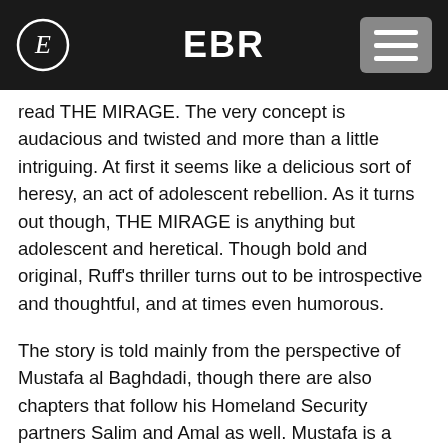EBR
read THE MIRAGE. The very concept is audacious and twisted and more than a little intriguing. At first it seems like a delicious sort of heresy, an act of adolescent rebellion. As it turns out though, THE MIRAGE is anything but adolescent and heretical. Though bold and original, Ruff's thriller turns out to be introspective and thoughtful, and at times even humorous.
The story is told mainly from the perspective of Mustafa al Baghdadi, though there are also chapters that follow his Homeland Security partners Salim and Amal as well. Mustafa is a likable lead, a dedicated law enforcer with somer serious regrets. Salim and Amal are also decent characters with fleshed out back stories but they do seem to lack a little in the personality department. Really though, it's the supporting cast that makes THE MIRAGE such a colorful